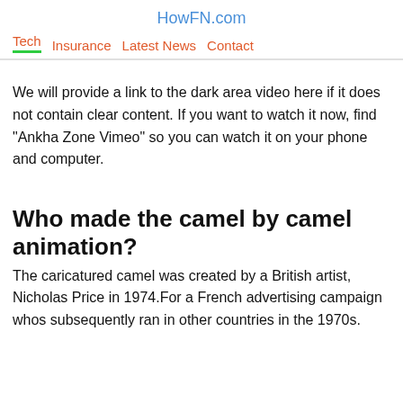HowFN.com
Tech  Insurance  Latest News  Contact
We will provide a link to the dark area video here if it does not contain clear content. If you want to watch it now, find "Ankha Zone Vimeo" so you can watch it on your phone and computer.
Who made the camel by camel animation?
The caricatured camel was created by a British artist, Nicholas Price in 1974.For a French advertising campaign whos subsequently ran in other countries in the 1970s.